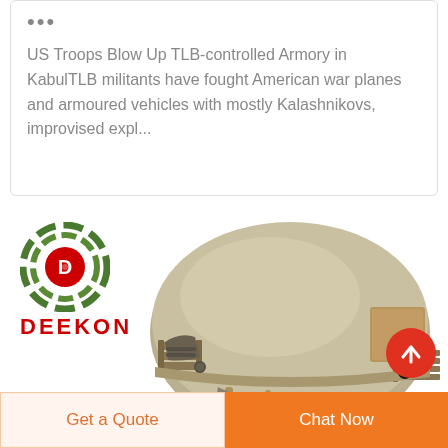...
US Troops Blow Up TLB-controlled Armory in KabulTLB militants have fought American war planes and armoured vehicles with mostly Kalashnikovs, improvised expl...
[Figure (logo): DEEKON brand logo with circular target/crosshair icon in camouflage green and red, with red bold text DEEKON below]
[Figure (photo): Military tactical helmet in tan/coyote color with rail system accessories, side mount, and chin strap visible on white background]
Get a Quote
Chat Now